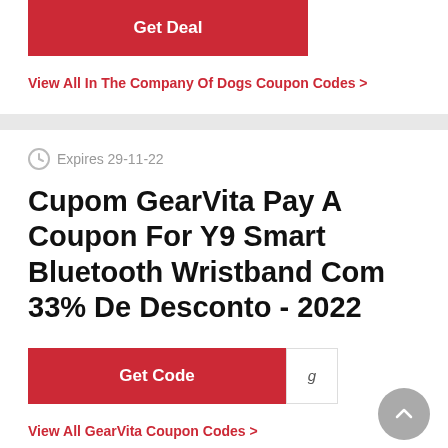Get Deal
View All In The Company Of Dogs Coupon Codes >
Expires 29-11-22
Cupom GearVita Pay A Coupon For Y9 Smart Bluetooth Wristband Com 33% De Desconto - 2022
Get Code
View All GearVita Coupon Codes >